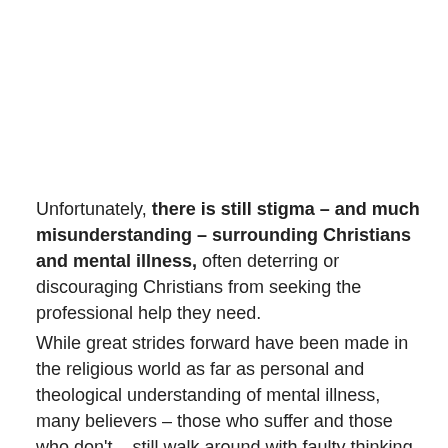Unfortunately, there is still stigma – and much misunderstanding – surrounding Christians and mental illness, often deterring or discouraging Christians from seeking the professional help they need.
While great strides forward have been made in the religious world as far as personal and theological understanding of mental illness, many believers – those who suffer and those who don't – still walk around with faulty thinking on the 'causes' and 'cures' for this malady